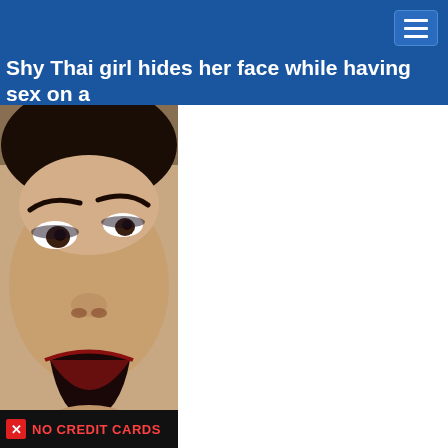Shy Thai girl hides her face while having sex on a bed with Farang
[Figure (photo): Close-up photo of a woman's face from slightly below, showing dark lipstick and expressive makeup, dark hair, looking upward with mouth open]
NO CREDIT CARDS